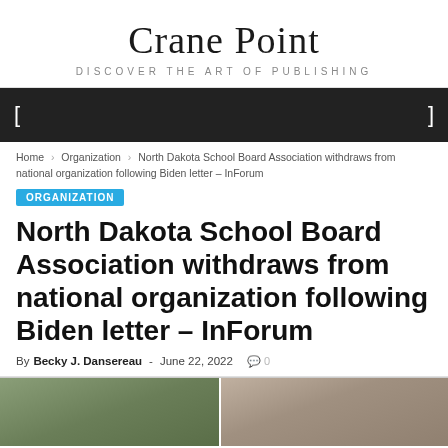Crane Point
DISCOVER THE ART OF PUBLISHING
navigation bar
Home › Organization › North Dakota School Board Association withdraws from national organization following Biden letter – InForum
ORGANIZATION
North Dakota School Board Association withdraws from national organization following Biden letter – InForum
By Becky J. Dansereau - June 22, 2022  0
[Figure (photo): Photo showing people in a meeting room setting, split into two panels]